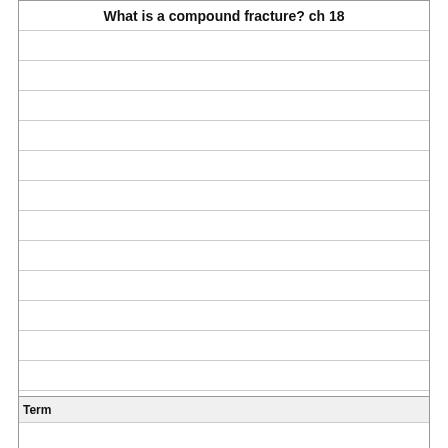What is a compound fracture? ch 18
Definition
One in which the bone perforates the skin
Term